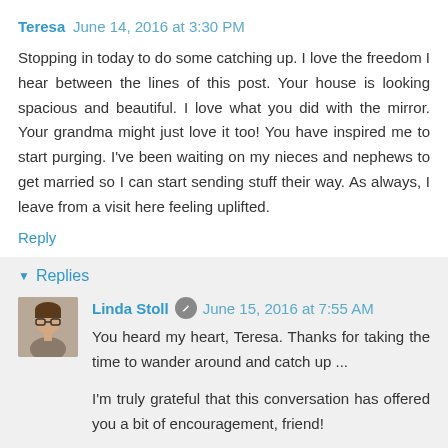Teresa  June 14, 2016 at 3:30 PM
Stopping in today to do some catching up. I love the freedom I hear between the lines of this post. Your house is looking spacious and beautiful. I love what you did with the mirror. Your grandma might just love it too! You have inspired me to start purging. I've been waiting on my nieces and nephews to get married so I can start sending stuff their way. As always, I leave from a visit here feeling uplifted.
Reply
Replies
[Figure (photo): Small avatar photo of Linda Stoll, a woman with short hair and glasses]
Linda Stoll  June 15, 2016 at 7:55 AM
You heard my heart, Teresa. Thanks for taking the time to wander around and catch up ...
I'm truly grateful that this conversation has offered you a bit of encouragement, friend!